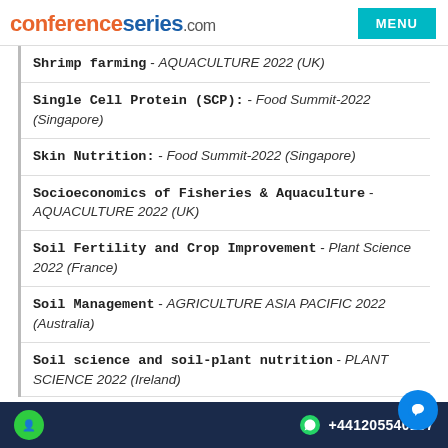conferenceseries.com
Shrimp farming - AQUACULTURE 2022 (UK)
Single Cell Protein (SCP): - Food Summit-2022 (Singapore)
Skin Nutrition: - Food Summit-2022 (Singapore)
Socioeconomics of Fisheries & Aquaculture - AQUACULTURE 2022 (UK)
Soil Fertility and Crop Improvement - Plant Science 2022 (France)
Soil Management - AGRICULTURE ASIA PACIFIC 2022 (Australia)
Soil science and soil-plant nutrition - PLANT SCIENCE 2022 (Ireland)
+441205540157